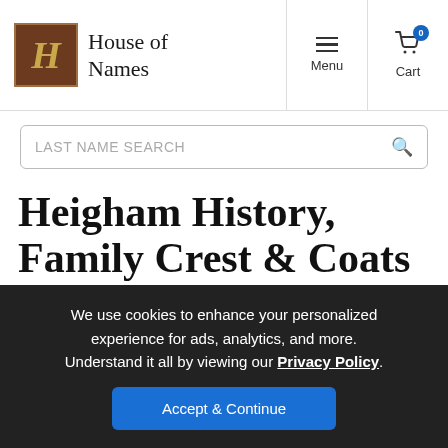House of Names — Menu | Cart
LAST NAME SEARCH
Heigham History, Family Crest & Coats of Arms
Origins Available: England
We use cookies to enhance your personalized experience for ads, analytics, and more. Understand it all by viewing our Privacy Policy.
Accept & Continue